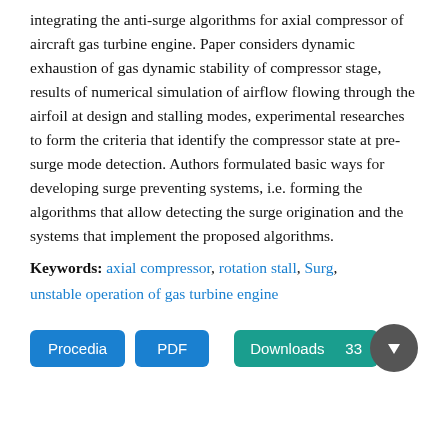integrating the anti-surge algorithms for axial compressor of aircraft gas turbine engine. Paper considers dynamic exhaustion of gas dynamic stability of compressor stage, results of numerical simulation of airflow flowing through the airfoil at design and stalling modes, experimental researches to form the criteria that identify the compressor state at pre-surge mode detection. Authors formulated basic ways for developing surge preventing systems, i.e. forming the algorithms that allow detecting the surge origination and the systems that implement the proposed algorithms.
Keywords: axial compressor, rotation stall, Surg, unstable operation of gas turbine engine
[Figure (other): Two blue buttons labeled 'Procedia' and 'PDF', and a teal 'Downloads' button with a gray circle arrow icon showing 33 downloads.]